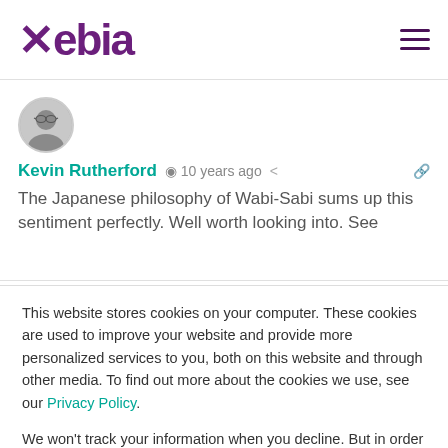Xebia
[Figure (photo): Circular avatar photo of Kevin Rutherford, an older man with glasses]
Kevin Rutherford  10 years ago
The Japanese philosophy of Wabi-Sabi sums up this sentiment perfectly. Well worth looking into. See
This website stores cookies on your computer. These cookies are used to improve your website and provide more personalized services to you, both on this website and through other media. To find out more about the cookies we use, see our Privacy Policy.
We won't track your information when you decline. But in order to comply with your preferences, we'll have to use just one tiny cookie so that you're not asked to make this choice again.
Accept
Decline